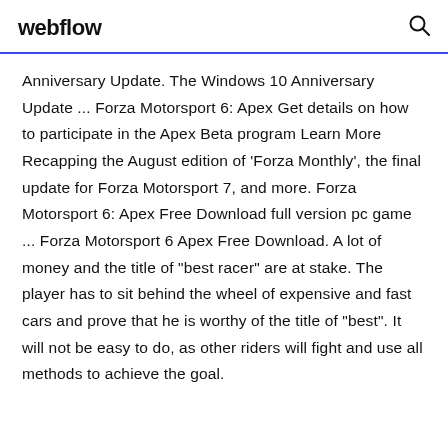webflow
Anniversary Update. The Windows 10 Anniversary Update ... Forza Motorsport 6: Apex Get details on how to participate in the Apex Beta program Learn More Recapping the August edition of 'Forza Monthly', the final update for Forza Motorsport 7, and more. Forza Motorsport 6: Apex Free Download full version pc game ... Forza Motorsport 6 Apex Free Download. A lot of money and the title of "best racer" are at stake. The player has to sit behind the wheel of expensive and fast cars and prove that he is worthy of the title of "best". It will not be easy to do, as other riders will fight and use all methods to achieve the goal.